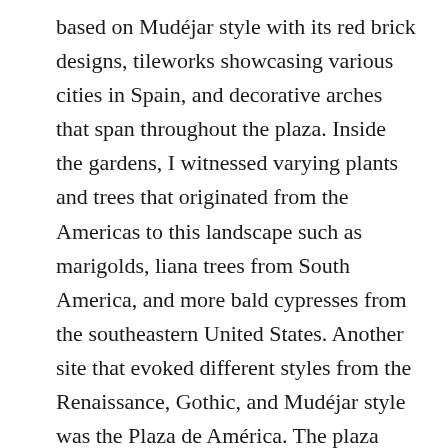based on Mudéjar style with its red brick designs, tileworks showcasing various cities in Spain, and decorative arches that span throughout the plaza. Inside the gardens, I witnessed varying plants and trees that originated from the Americas to this landscape such as marigolds, liana trees from South America, and more bald cypresses from the southeastern United States. Another site that evoked different styles from the Renaissance, Gothic, and Mudéjar style was the Plaza de América. The plaza was directed and designed by Aníbal González Álvarez-Ossorio and completed in 1916 and he showcased these different styles by building the Palace of Fine Arts in the Renaissance style, the Royal